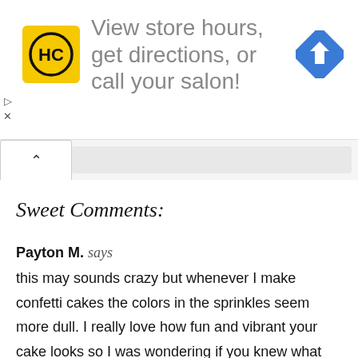[Figure (other): Advertisement banner for Hair Club (HC) salon with yellow logo, text 'View store hours, get directions, or call your salon!', and blue navigation arrow icon]
Sweet Comments:
Payton M. says
this may sounds crazy but whenever I make confetti cakes the colors in the sprinkles seem more dull. I really love how fun and vibrant your cake looks so I was wondering if you knew what brand of sprinkles you used. If you don't know that is completely fine. Have a wonderful day!